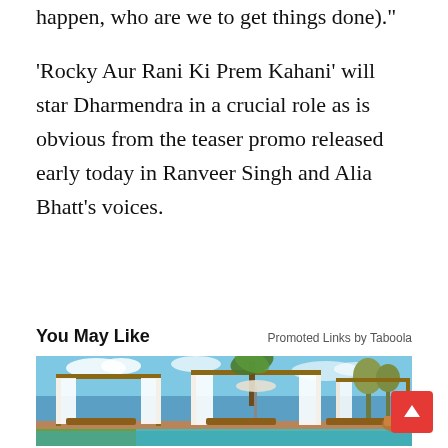happen, who are we to get things done).”
‘Rocky Aur Rani Ki Prem Kahani’ will star Dharmendra in a crucial role as is obvious from the teaser promo released early today in Ranveer Singh and Alia Bhatt’s voices.
You May Like
Promoted Links by Taboola
[Figure (photo): Luxury resort poolside with wooden-framed cabanas with white curtains, palm trees, blue sky, and pool in foreground. Brown wooden lounge chairs visible.]